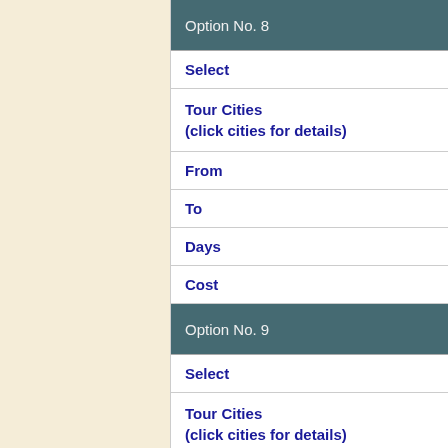Option No. 8
Select
Tour Cities (click cities for details)
From
To
Days
Cost
Option No. 9
Select
Tour Cities (click cities for details)
From